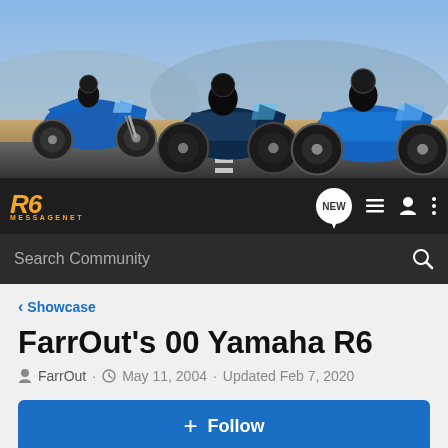[Figure (photo): Banner photo showing three blue Yamaha R6 sport motorcycles on a road with desert landscape and blue sky background]
[Figure (logo): R6 MessageNet logo in orange italic bold text with 'MESSAGENET' subtitle below]
Search Community
< Showcase
FarrOut's 00 Yamaha R6
FarrOut · May 11, 2004 · Updated Feb 7, 2020
+ Follow